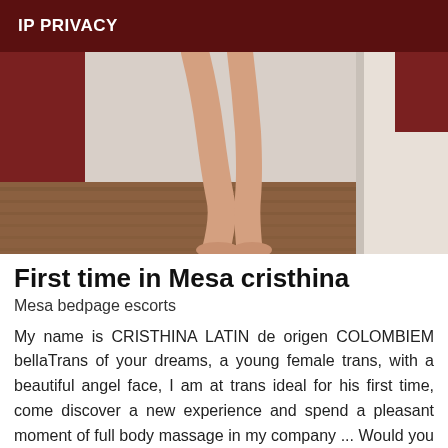IP PRIVACY
[Figure (photo): A person standing in a room, showing bare legs from hip level down to feet on a wooden floor, near a white door and dark red wall elements.]
First time in Mesa cristhina
Mesa bedpage escorts
My name is CRISTHINA LATIN de origen COLOMBIEM bellaTrans of your dreams, a young female trans, with a beautiful angel face, I am at trans ideal for his first time, come discover a new experience and spend a pleasant moment of full body massage in my company ... Would you like to live an adventure Do you want to live strong